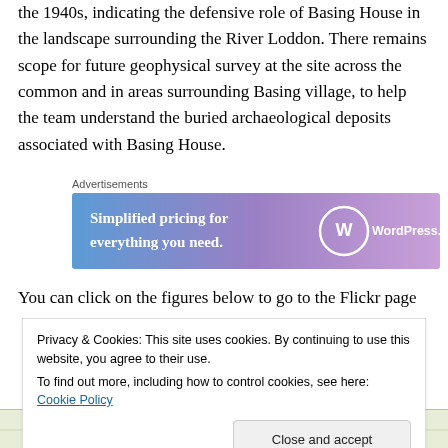the 1940s, indicating the defensive role of Basing House in the landscape surrounding the River Loddon. There remains scope for future geophysical survey at the site across the common and in areas surrounding Basing village, to help the team understand the buried archaeological deposits associated with Basing House.
[Figure (advertisement): WordPress.com advertisement banner with gradient blue-to-purple background. Text reads: 'Simplified pricing for everything you need.' with WordPress.com logo on the right.]
You can click on the figures below to go to the Flickr page
Privacy & Cookies: This site uses cookies. By continuing to use this website, you agree to their use.
To find out more, including how to control cookies, see here: Cookie Policy
[Figure (map): Partial map strip visible at the bottom of the page showing archaeological survey areas including 'Area 4' label.]